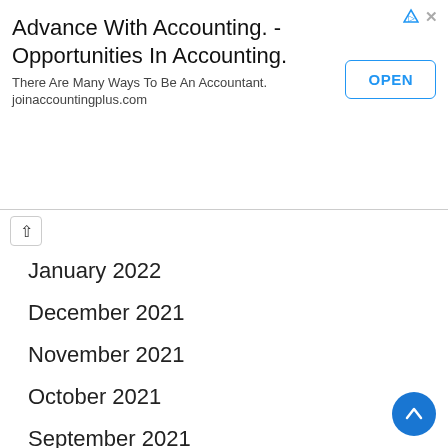[Figure (screenshot): Advertisement banner for joinaccountingplus.com with title 'Advance With Accounting. - Opportunities In Accounting.', subtitle 'There Are Many Ways To Be An Accountant. joinaccountingplus.com', and an OPEN button.]
January 2022
December 2021
November 2021
October 2021
September 2021
August 2021
March 2021
February 2021
January 2021